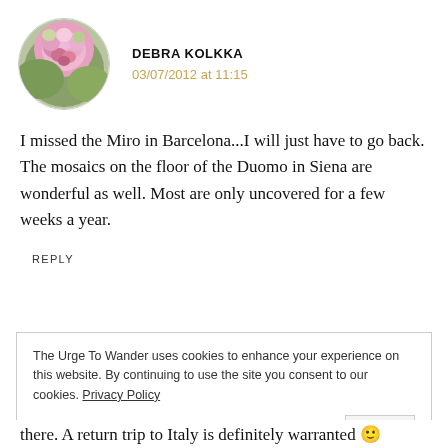[Figure (photo): Circular avatar photo of a pink peony flower]
DEBRA KOLKKA
03/07/2012 at 11:15
I missed the Miro in Barcelona...I will just have to go back. The mosaics on the floor of the Duomo in Siena are wonderful as well. Most are only uncovered for a few weeks a year.
REPLY
The Urge To Wander uses cookies to enhance your experience on this website. By continuing to use the site you consent to our cookies. Privacy Policy
OK
there. A return trip to Italy is definitely warranted 🙂